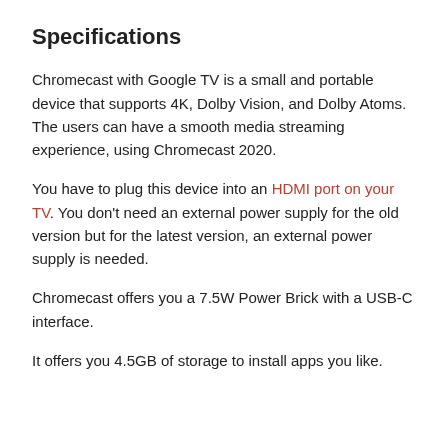Specifications
Chromecast with Google TV is a small and portable device that supports 4K, Dolby Vision, and Dolby Atoms. The users can have a smooth media streaming experience, using Chromecast 2020.
You have to plug this device into an HDMI port on your TV. You don't need an external power supply for the old version but for the latest version, an external power supply is needed.
Chromecast offers you a 7.5W Power Brick with a USB-C interface.
It offers you 4.5GB of storage to install apps you like.